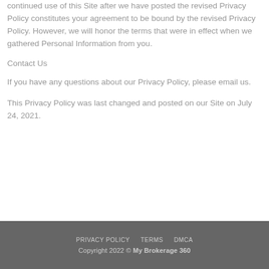continued use of this Site after we have posted the revised Privacy Policy constitutes your agreement to be bound by the revised Privacy Policy. However, we will honor the terms that were in effect when we gathered Personal Information from you.
Contact Us
If you have any questions about our Privacy Policy, please email us.
This Privacy Policy was last changed and posted on our Site on July 24, 2021.
PRIVACY POLICY   TERMS   DMCA
Copyright 2022 © My Brokerage 360